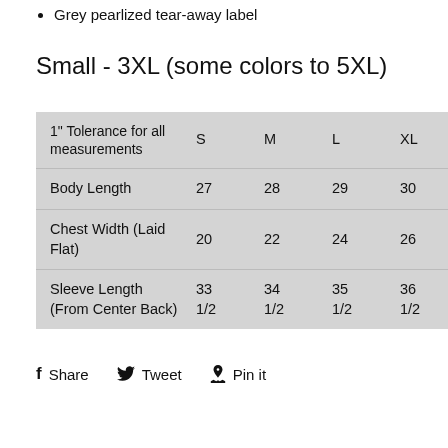Grey pearlized tear-away label
Small - 3XL (some colors to 5XL)
| 1" Tolerance for all measurements | S | M | L | XL | 2XL | 3… |
| --- | --- | --- | --- | --- | --- | --- |
| Body Length | 27 | 28 | 29 | 30 | 31 | 3… |
| Chest Width (Laid Flat) | 20 | 22 | 24 | 26 | 28 | 3… |
| Sleeve Length (From Center Back) | 33 1/2 | 34 1/2 | 35 1/2 | 36 1/2 | 37 1/2 | 1… |
f Share  🐦 Tweet  ♡ Pin it